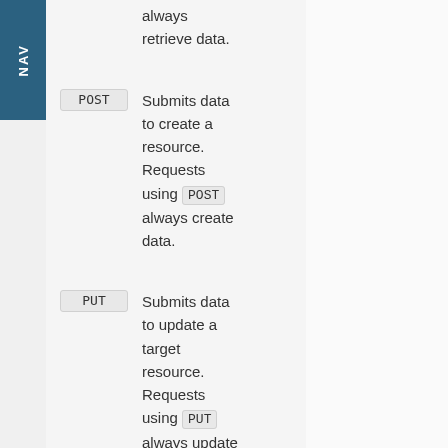NAV
always retrieve data.
POST — Submits data to create a resource. Requests using POST always create data.
PUT — Submits data to update a target resource. Requests using PUT always update data.
DELETE — Deletes the target...